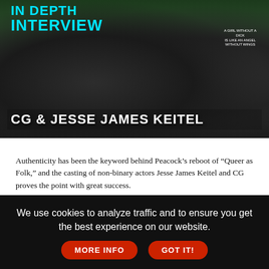[Figure (photo): Photo of two people, with overlay text reading 'IN DEPTH INTERVIEW' and 'CG & JESSE JAMES KEITEL'. One person wears a shirt reading 'A GIRL WITHOUT A DICK IS LIKE AN ANGEL WITHOUT WINGS'.]
Authenticity has been the keyword behind Peacock's reboot of "Queer as Folk," and the casting of non-binary actors Jesse James Keitel and CG proves the point with great success.
Authenticity has been the keyword behind Peacock's reboot of "Queer as Folk," which has reset the series to present-day New Orleans and introduced an array of diverse characters navigating the ever-changing queer culture.
A... (partial text cut off)
We use cookies to analyze traffic and to ensure you get the best experience on our website. MORE INFO GOT IT!